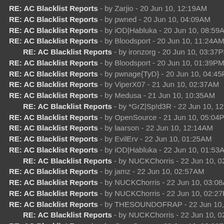RE: AC Blacklist Reports - by Zarjio - 20 Jun 10, 12:19AM
RE: AC Blacklist Reports - by pwned - 20 Jun 10, 04:09AM
RE: AC Blacklist Reports - by iOD|Habluka - 20 Jun 10, 08:59AM
RE: AC Blacklist Reports - by Bloodsport - 20 Jun 10, 11:24AM
RE: AC Blacklist Reports - by ironzorg - 20 Jun 10, 03:37PM
RE: AC Blacklist Reports - by Bloodsport - 20 Jun 10, 01:39PM
RE: AC Blacklist Reports - by pwnage{TyD} - 20 Jun 10, 04:45PM
RE: AC Blacklist Reports - by ViperX07 - 21 Jun 10, 02:37AM
RE: AC Blacklist Reports - by Medusa - 21 Jun 10, 10:35AM
RE: AC Blacklist Reports - by *GrZ|Sp!d3R - 22 Jun 10, 12:19PM
RE: AC Blacklist Reports - by OpenSource - 21 Jun 10, 05:04PM
RE: AC Blacklist Reports - by laarson - 22 Jun 10, 12:14AM
RE: AC Blacklist Reports - by EvilErv - 22 Jun 10, 01:25AM
RE: AC Blacklist Reports - by iOD|Habluka - 22 Jun 10, 01:53AM
RE: AC Blacklist Reports - by NUCKChorris - 22 Jun 10, 02:13AM
RE: AC Blacklist Reports - by jamz - 22 Jun 10, 02:57AM
RE: AC Blacklist Reports - by NUCKChorris - 22 Jun 10, 03:08AM
RE: AC Blacklist Reports - by NUCKChorris - 22 Jun 10, 02:27PM
RE: AC Blacklist Reports - by THESOUNDOFRAP - 22 Jun 10, 02:38PM
RE: AC Blacklist Reports - by NUCKChorris - 22 Jun 10, 02:44PM
RE: AC Blacklist Reports - by OpenSource - 22 Jun 10, 06:30PM
RE: AC Blacklist Reports - by c00kie - 22 Jun 10, 07:12PM
RE: AC Blacklist Reports - by SplatZ - 22 Jun 10, 08:47PM
RE: AC Blacklist Reports - by Blue_Pr!nt - 22 Jun 10, 08:56PM
RE: AC Blacklist Reports - by July - 23 Jun 10, 02:08AM